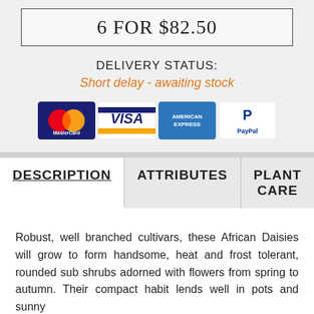6 FOR $82.50
DELIVERY STATUS:
Short delay - awaiting stock
[Figure (logo): Payment method logos: MasterCard, VISA, American Express, PayPal]
DESCRIPTION | ATTRIBUTES | PLANT CARE
Robust, well branched cultivars, these African Daisies will grow to form handsome, heat and frost tolerant, rounded sub shrubs adorned with flowers from spring to autumn. Their compact habit lends well in pots and sunny